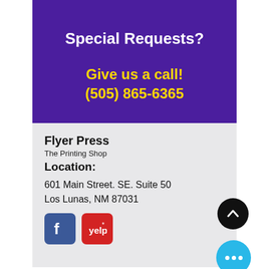Special Requests?
Give us a call!
(505) 865-6365
Flyer Press
The Printing Shop
Location:
601 Main Street. SE. Suite 50
Los Lunas, NM 87031
[Figure (logo): Facebook and Yelp social media icons]
[Figure (other): Scroll-up button (black circle with upward chevron) and a cyan more-options button with three dots]